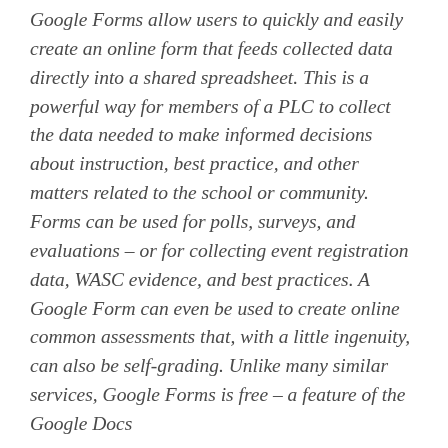Google Forms allow users to quickly and easily create an online form that feeds collected data directly into a shared spreadsheet. This is a powerful way for members of a PLC to collect the data needed to make informed decisions about instruction, best practice, and other matters related to the school or community. Forms can be used for polls, surveys, and evaluations – or for collecting event registration data, WASC evidence, and best practices. A Google Form can even be used to create online common assessments that, with a little ingenuity, can also be self-grading. Unlike many similar services, Google Forms is free – a feature of the Google Docs